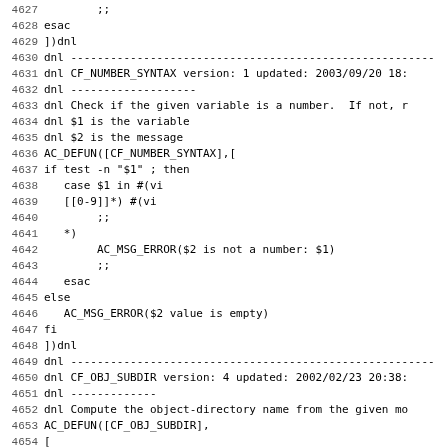Source code listing lines 4628-4659, showing shell script / autoconf macro definitions including CF_NUMBER_SYNTAX and CF_OBJ_SUBDIR macros.